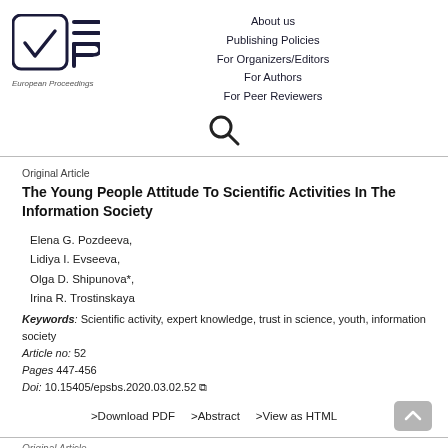[Figure (logo): European Proceedings logo: checkbox with checkmark and EP stylized text]
About us
Publishing Policies
For Organizers/Editors
For Authors
For Peer Reviewers
[Figure (other): Search icon (magnifying glass)]
Original Article
The Young People Attitude To Scientific Activities In The Information Society
Elena G. Pozdeeva,
Lidiya I. Evseeva,
Olga D. Shipunova*,
Irina R. Trostinskaya
Keywords: Scientific activity, expert knowledge, trust in science, youth, information society
Article no: 52
Pages 447-456
Doi: 10.15405/epsbs.2020.03.02.52
>Download PDF    >Abstract    >View as HTML